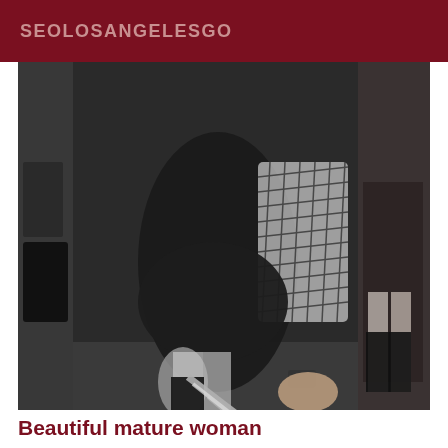SEOLOSANGELESGO
[Figure (photo): Black and white photograph showing women in short dresses and fishnet stockings on a staircase, holding a railing]
Beautiful mature woman